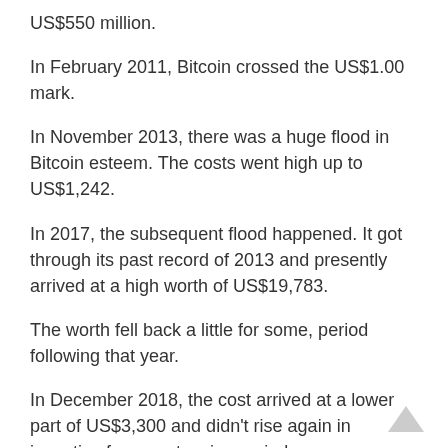US$550 million.
In February 2011, Bitcoin crossed the US$1.00 mark.
In November 2013, there was a huge flood in Bitcoin esteem. The costs went high up to US$1,242.
In 2017, the subsequent flood happened. It got through its past record of 2013 and presently arrived at a high worth of US$19,783.
The worth fell back a little for some, period following that year.
In December 2018, the cost arrived at a lower part of US$3,300 and didn't rise again in incentive for an extensive period.
In November 2020, Bitcoin again leisurely encountered an ascent in its worth.